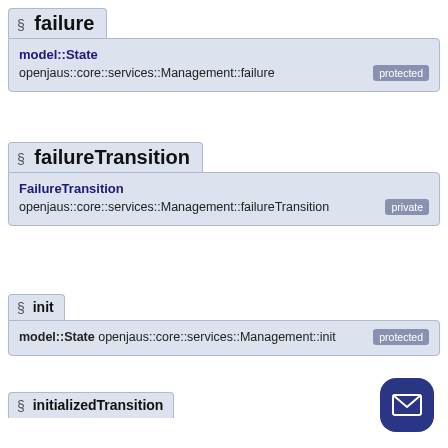§ failure
model::State
openjaus::core::services::Management::failure [protected]
§ failureTransition
FailureTransition
openjaus::core::services::Management::failureTransition [private]
§ init
model::State openjaus::core::services::Management::init [protected]
§ initializedTransition